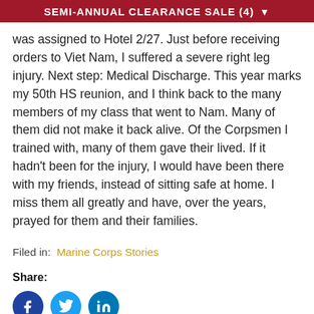SEMI-ANNUAL CLEARANCE SALE (4)
was assigned to Hotel 2/27. Just before receiving orders to Viet Nam, I suffered a severe right leg injury. Next step: Medical Discharge. This year marks my 50th HS reunion, and I think back to the many members of my class that went to Nam. Many of them did not make it back alive. Of the Corpsmen I trained with, many of them gave their lived. If it hadn't been for the injury, I would have been there with my friends, instead of sitting safe at home. I miss them all greatly and have, over the years, prayed for them and their families.
Filed in: Marine Corps Stories
Share: